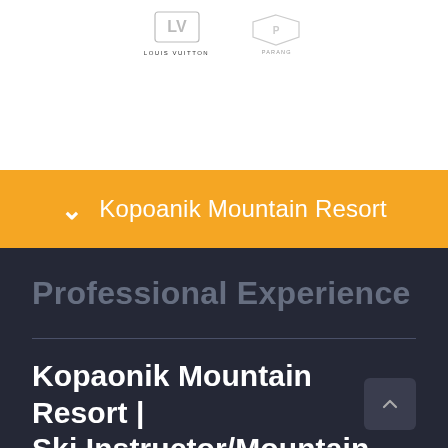[Figure (logo): Louis Vuitton logo with LV monogram badge and text LOUIS VUITTON below]
[Figure (logo): Parang logo with stylized mountain/shield shape and text PARANG below]
Kopoanik Mountain Resort
Professional Experience
Kopaonik Mountain Resort | Ski Instructor/Mountain Rescue